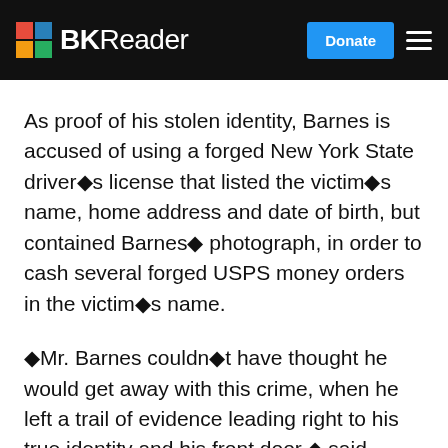BKReader | Donate
As proof of his stolen identity, Barnes is accused of using a forged New York State driver◆s license that listed the victim◆s name, home address and date of birth, but contained Barnes◆ photograph, in order to cash several forged USPS money orders in the victim◆s name.
◆Mr. Barnes couldn◆t have thought he would get away with this crime, when he left a trail of evidence leading right to his true identity and his front door,◆ said USPS Inspector in Charge Philip R. Bartlett. ◆As today◆s arrest demonstrates, if